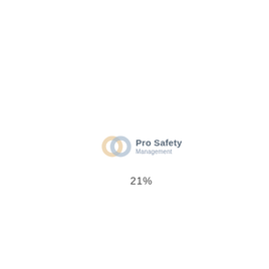[Figure (logo): Pro Safety Management logo with interlocking circle graphic in light blue-grey and gold/peach tones, followed by the text 'Pro Safety Management']
21%